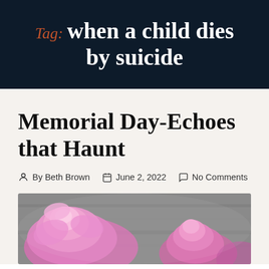Tag: when a child dies by suicide
Memorial Day-Echoes that Haunt
By Beth Brown  June 2, 2022  No Comments
[Figure (photo): Close-up photograph of pink roses or peonies with a blurred wooden background]